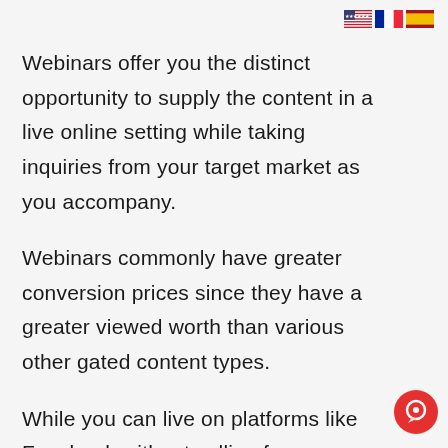[Figure (other): Three flag icons: US flag, French flag, Spanish flag arranged horizontally in top-right corner]
Webinars offer you the distinct opportunity to supply the content in a live online setting while taking inquiries from your target market as you accompany.
Webinars commonly have greater conversion prices since they have a greater viewed worth than various other gated content types.
While you can live on platforms like Facebook without calling for an email, those platforms don't give the same tools that you would get from a
[Figure (other): Red circular chat/messenger button icon in bottom-right corner]